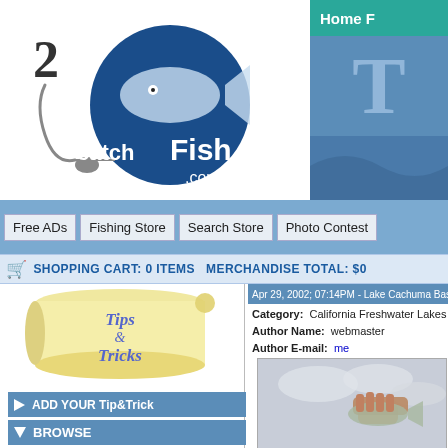[Figure (logo): 2catchaFish.com logo with fishing hook and fish graphic]
[Figure (screenshot): Right header panel with 'Home F' tab in teal and large letter T on blue background]
Free ADs  Fishing Store  Search Store  Photo Contest
SHOPPING CART: 0 ITEMS  MERCHANDISE TOTAL: $0
[Figure (illustration): Tips & Tricks scroll graphic with yellow parchment scroll and blue italic text]
ADD YOUR Tip&Trick
BROWSE
Bubba Novells Fish Recipes  1
California Freshwater Lakes  1
De La Rue Aussi Fish Recipes  1
Fish Identification Charts  1
Fish Stories  0
Fish weight calculator  0
Fishing Jokes  2
Apr 29, 2002; 07:14PM - Lake Cachuma Bass
Category:  California Freshwater Lakes
Author Name:  webmaster
Author E-mail:  me
[Figure (photo): Photo of a person holding a bass fish against a cloudy sky background]